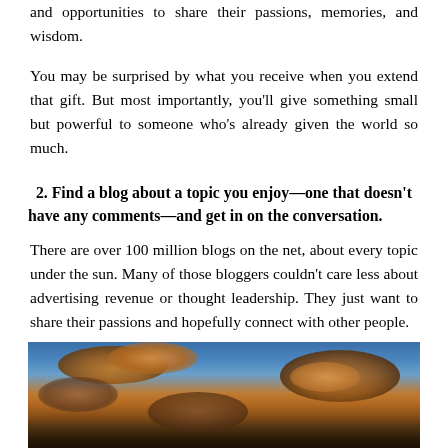and opportunities to share their passions, memories, and wisdom.
You may be surprised by what you receive when you extend that gift. But most importantly, you'll give something small but powerful to someone who's already given the world so much.
2. Find a blog about a topic you enjoy—one that doesn't have any comments—and get in on the conversation.
There are over 100 million blogs on the net, about every topic under the sun. Many of those bloggers couldn't care less about advertising revenue or thought leadership. They just want to share their passions and hopefully connect with other people.
[Figure (photo): A dramatic sky photograph showing golden-orange clouds against a blue sky at sunset or sunrise.]